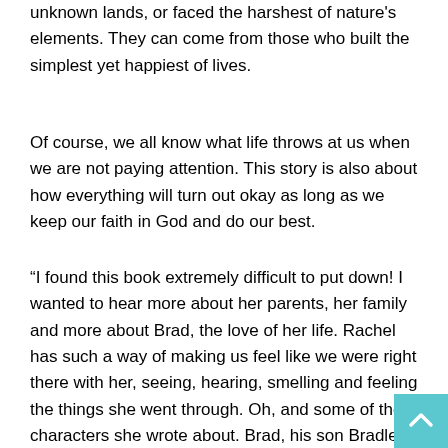unknown lands, or faced the harshest of nature's elements. They can come from those who built the simplest yet happiest of lives.
Of course, we all know what life throws at us when we are not paying attention. This story is also about how everything will turn out okay as long as we keep our faith in God and do our best.
“I found this book extremely difficult to put down! I wanted to hear more about her parents, her family and more about Brad, the love of her life. Rachel has such a way of making us feel like we were right there with her, seeing, hearing, smelling and feeling the things she went through. Oh, and some of the characters she wrote about. Brad, his son Bradley Jr. and the mean old landlady in Cincinnati. I want to hear more and cannot wait for Rachel’s next segment,” one reader writes.